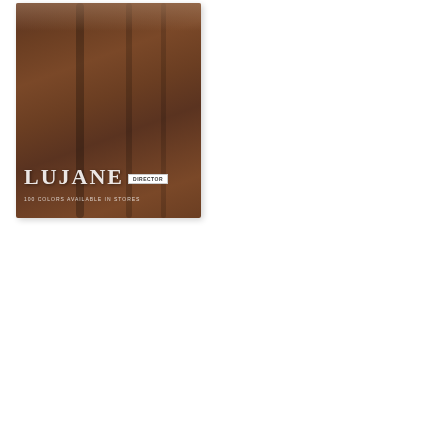[Figure (photo): Product card/thumbnail showing a brown fabric garment (appears to be an abaya or long coat) hanging, with the brand name LUJANE overlaid in white text along with a DIRECTOR badge and small subtitle text reading '100 COLORS AVAILABLE IN STORES'. The card has a white border with slight shadow.]